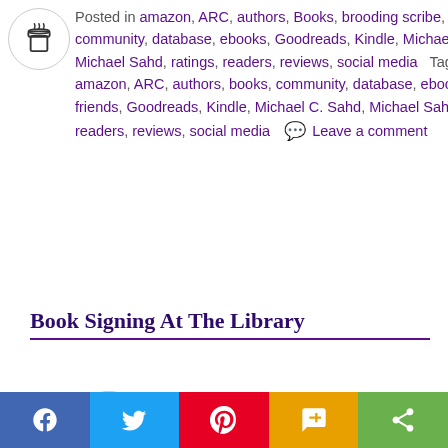Posted in amazon, ARC, authors, Books, brooding scribe, community, database, ebooks, Goodreads, Kindle, Michael C. Sahd, Michael Sahd, ratings, readers, reviews, social media   Tagged amazon, ARC, authors, books, community, database, ebooks, friends, Goodreads, Kindle, Michael C. Sahd, Michael Sahd, ratings, readers, reviews, social media   💬 Leave a comment
Book Signing At The Library
Posted on 📅 November 2, 2017